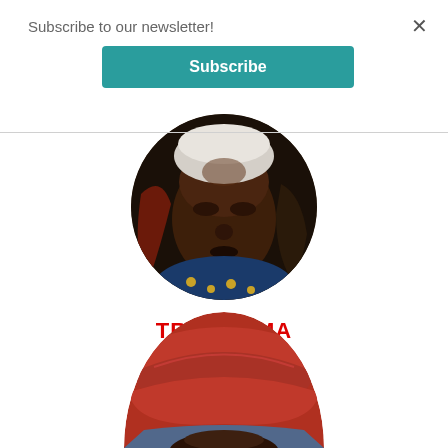Subscribe to our newsletter!
Subscribe
×
[Figure (photo): Close-up circular portrait of a person with trachoma affecting the eyes, wearing colorful clothing]
TRACHOMA
[Figure (photo): Circular cropped photo showing top of a person's head wearing a red head wrap, partially visible at bottom of page]